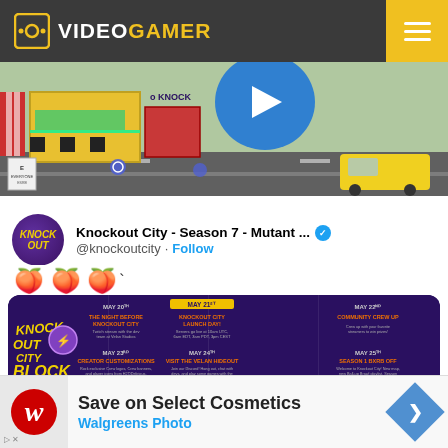VideoGamer
[Figure (screenshot): Knockout City video game screenshot showing colorful city environment with yellow taxi and buildings, with a play button overlay and ESRB rating badge]
Knockout City - Season 7 - Mutant ... @knockoutcity · Follow
🍑 🍑 🍑 `
[Figure (infographic): Knockout City Block Party event schedule card showing May 20-30 events including: May 20 - The Night Before Knockout City (Twitch stream), May 21 - Knockout City Launch Day! (Servers go live), May 22 - Community Crew Up, May 23 - Creator Customizations, May 24 - Visit the Velan Hideout, May 25 - Season 1 Extras Off, May 26 - Dodge the Devs Round 1, May 27 - Dodge the Devs Round 2]
Save on Select Cosmetics Walgreens Photo